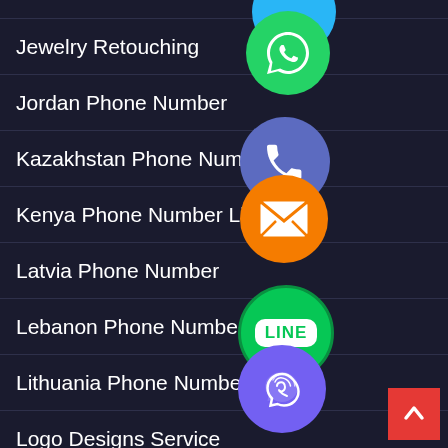Jewelry Retouching
Jordan Phone Number
Kazakhstan Phone Number
Kenya Phone Number Li…
Latvia Phone Number
Lebanon Phone Number
Lithuania Phone Number
Logo Designs Service
Luxembourg Phone Number
[Figure (screenshot): Floating social media / communication app icons: WhatsApp (green), phone/call (blue-purple), email/envelope (orange), LINE (green), Viber (purple), close/X (green)]